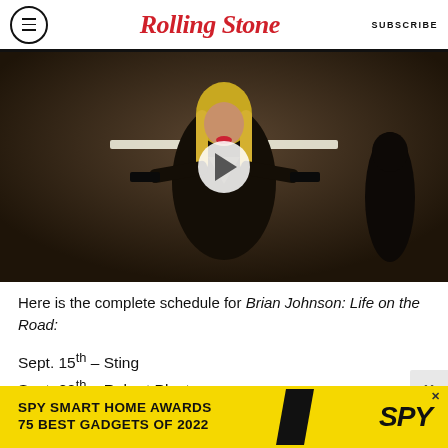Rolling Stone — SUBSCRIBE
[Figure (photo): Video thumbnail showing a woman in a black outfit with blonde hair holding two guns, with a play button overlay. Dark brownish background with a horizontal light bar across the frame.]
Here is the complete schedule for Brian Johnson: Life on the Road:
Sept. 15th – Sting
Sept. 22th – Robert Plant
Sept. 29th – Roger Daltrey
[Figure (screenshot): Advertisement banner: SPY SMART HOME AWARDS / 75 BEST GADGETS OF 2022 on yellow background with SPY logo]